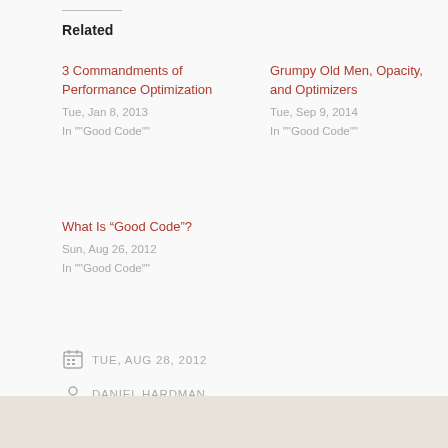Related
3 Commandments of Performance Optimization
Tue, Jan 8, 2013
In ""Good Code""
Grumpy Old Men, Opacity, and Optimizers
Tue, Sep 9, 2014
In ""Good Code""
What Is “Good Code”?
Sun, Aug 26, 2012
In ""Good Code""
TUE, AUG 28, 2012
DANIEL HARDMAN
EARLY OPTIMIZATION, LATE OPTIMIZATION, NIH, OPTIMIZATION, REFACTORING